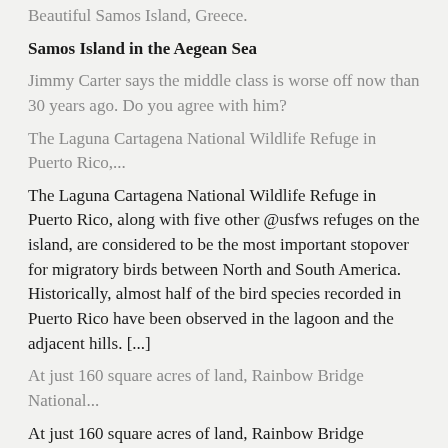Beautiful Samos Island, Greece.
Samos Island in the Aegean Sea
Jimmy Carter says the middle class is worse off now than 30 years ago. Do you agree with him?
The Laguna Cartagena National Wildlife Refuge in Puerto Rico,...
The Laguna Cartagena National Wildlife Refuge in Puerto Rico, along with five other @usfws refuges on the island, are considered to be the most important stopover for migratory birds between North and South America. Historically, almost half of the bird species recorded in Puerto Rico have been observed in the lagoon and the adjacent hills. [...]
At just 160 square acres of land, Rainbow Bridge National...
At just 160 square acres of land, Rainbow Bridge National Monument is one of the smallest units